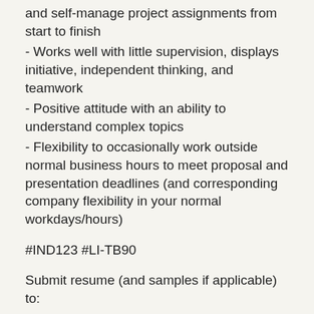and self-manage project assignments from start to finish
- Works well with little supervision, displays initiative, independent thinking, and teamwork
- Positive attitude with an ability to understand complex topics
- Flexibility to occasionally work outside normal business hours to meet proposal and presentation deadlines (and corresponding company flexibility in your normal workdays/hours)
#IND123 #LI-TB90
Submit resume (and samples if applicable) to: